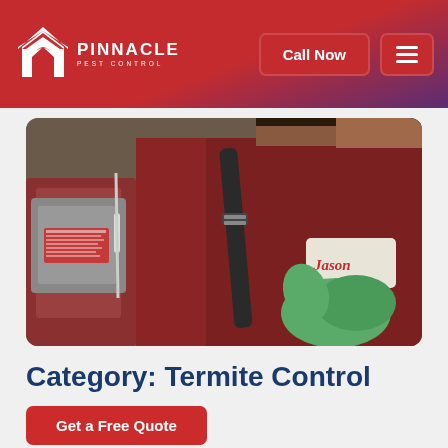[Figure (logo): Pinnacle Pest Control logo: white house/arrow icon with PINNACLE PEST CONTROL text in white]
Call Now
[Figure (illustration): Pest control technician named Jason in red uniform with green gloves carrying spray equipment]
Category: Termite Control
Get a Free Quote